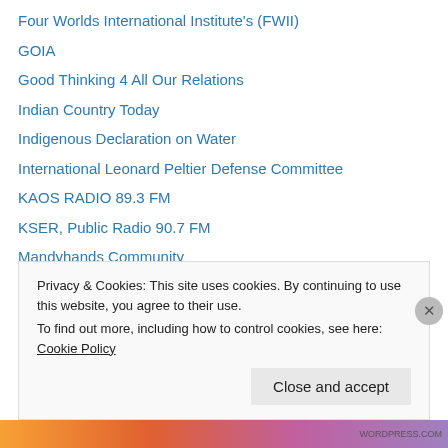Four Worlds International Institute's (FWII)
GOIA
Good Thinking 4 All Our Relations
Indian Country Today
Indigenous Declaration on Water
International Leonard Peltier Defense Committee
KAOS RADIO 89.3 FM
KSER, Public Radio 90.7 FM
Mandyhands Community
National Congress of American Indians
Native American Cultural-based Community
Native Cases Evergreen
Native News Online
Privacy & Cookies: This site uses cookies. By continuing to use this website, you agree to their use. To find out more, including how to control cookies, see here: Cookie Policy